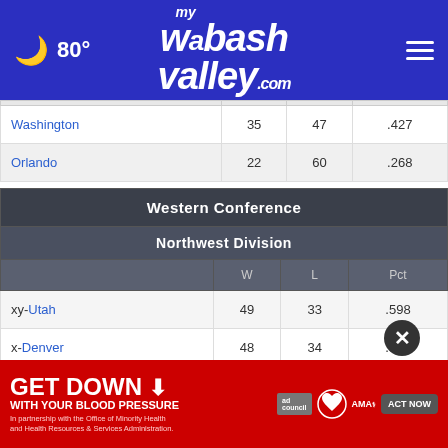80° mywabashvalley.com
|  | W | L | Pct |
| --- | --- | --- | --- |
| Washington | 35 | 47 | .427 |
| Orlando | 22 | 60 | .268 |
| Western Conference — Northwest Division | W | L | Pct |
| --- | --- | --- | --- |
| xy-Utah | 49 | 33 | .598 |
| x-Denver | 48 | 34 | .585 |
| x-Minn |  |  |  |
| Portland | 27 | 55 | .329 |
[Figure (infographic): GET DOWN WITH YOUR BLOOD PRESSURE advertisement banner with ACT NOW button, ad council, heart, and AMA logos]